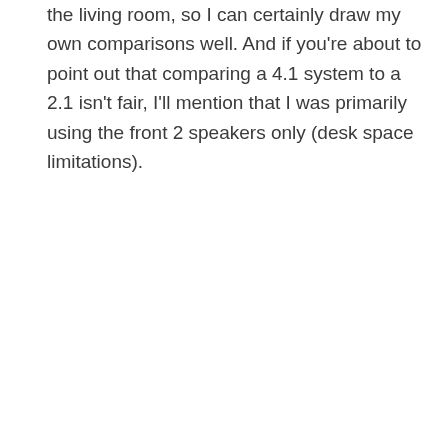the living room, so I can certainly draw my own comparisons well. And if you're about to point out that comparing a 4.1 system to a 2.1 isn't fair, I'll mention that I was primarily using the front 2 speakers only (desk space limitations).